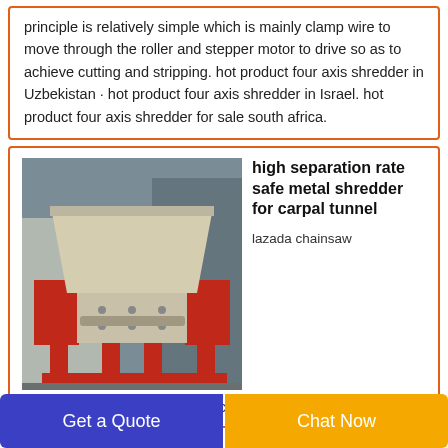principle is relatively simple which is mainly clamp wire to move through the roller and stepper motor to drive so as to achieve cutting and stripping. hot product four axis shredder in Uzbekistan · hot product four axis shredder in Israel. hot product four axis shredder for sale south africa.
[Figure (photo): Industrial metal shredder machine with red base frame and beige/grey hopper top, photographed outdoors]
high separation rate safe metal shredder for carpal tunnel
lazada chainsaw single shaft shredder for gold recovery. machine
Get a Quote
Chat Now